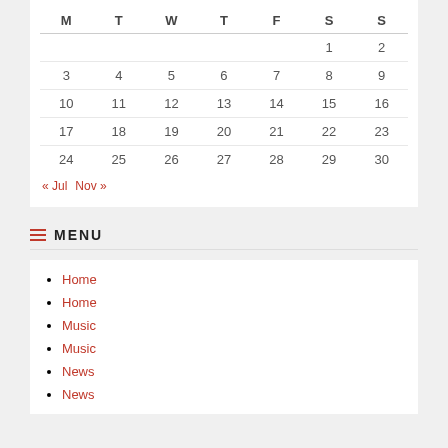| M | T | W | T | F | S | S |
| --- | --- | --- | --- | --- | --- | --- |
|  |  |  |  |  | 1 | 2 |
| 3 | 4 | 5 | 6 | 7 | 8 | 9 |
| 10 | 11 | 12 | 13 | 14 | 15 | 16 |
| 17 | 18 | 19 | 20 | 21 | 22 | 23 |
| 24 | 25 | 26 | 27 | 28 | 29 | 30 |
« Jul   Nov »
≡ MENU
Home
Home
Music
Music
News
News